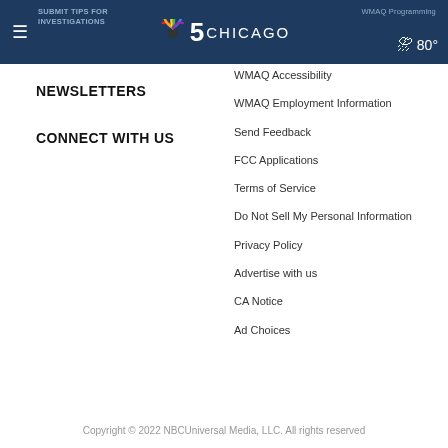NBC 5 CHICAGO — SUBMIT TIPS FOR INVESTIGATIONS | WMAQ Accessibility | 80°
NEWSLETTERS
CONNECT WITH US
WMAQ Accessibility
WMAQ Employment Information
Send Feedback
FCC Applications
Terms of Service
Do Not Sell My Personal Information
Privacy Policy
Advertise with us
CA Notice
Ad Choices
Copyright © 2022 NBCUniversal Media, LLC. All rights reserved